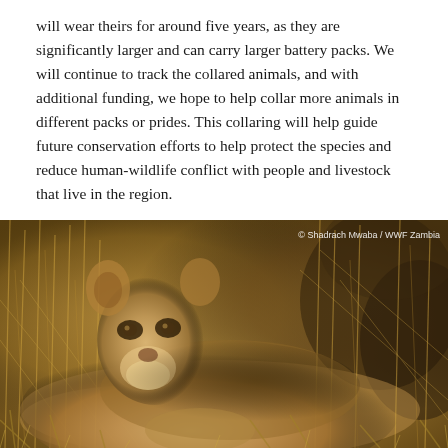will wear theirs for around five years, as they are significantly larger and can carry larger battery packs. We will continue to track the collared animals, and with additional funding, we hope to help collar more animals in different packs or prides. This collaring will help guide future conservation efforts to help protect the species and reduce human-wildlife conflict with people and livestock that live in the region.
[Figure (photo): A lioness photographed in dry savanna grassland with golden-brown dried grass in the background. The lion is looking toward the camera. Photo credit: © Shadrach Mwaba / WWF Zambia]